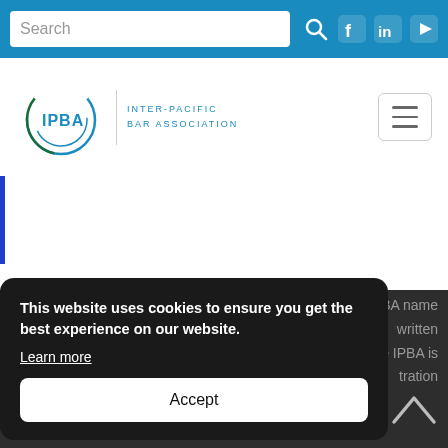Search
[Figure (logo): IPBA Inter-Pacific Bar Association logo with circular swoosh design in blue and green]
INTER-PACIFIC BAR ASSOCIATION
This website uses cookies to ensure you get the best experience on our website. Learn more
Accept
BA name
written
he IPBA is
tration